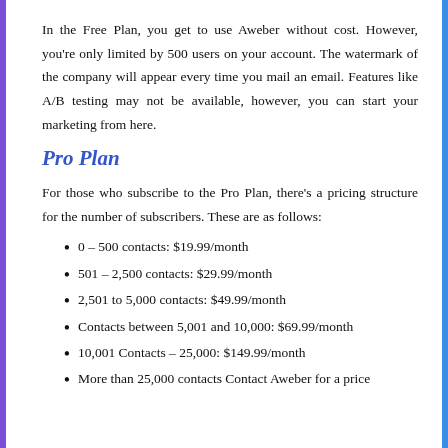In the Free Plan, you get to use Aweber without cost. However, you're only limited by 500 users on your account. The watermark of the company will appear every time you mail an email. Features like A/B testing may not be available, however, you can start your marketing from here.
Pro Plan
For those who subscribe to the Pro Plan, there's a pricing structure for the number of subscribers. These are as follows:
0 – 500 contacts: $19.99/month
501 – 2,500 contacts: $29.99/month
2,501 to 5,000 contacts: $49.99/month
Contacts between 5,001 and 10,000: $69.99/month
10,001 Contacts – 25,000: $149.99/month
More than 25,000 contacts Contact Aweber for a price